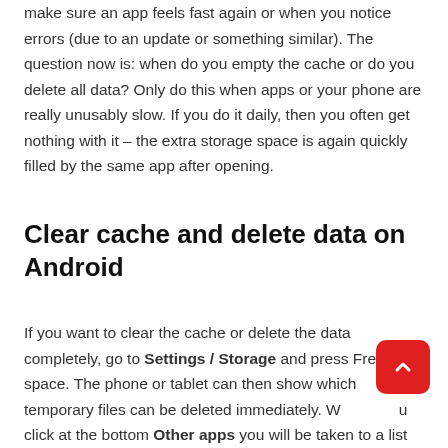make sure an app feels fast again or when you notice errors (due to an update or something similar). The question now is: when do you empty the cache or do you delete all data? Only do this when apps or your phone are really unusably slow. If you do it daily, then you often get nothing with it – the extra storage space is again quickly filled by the same app after opening.
Clear cache and delete data on Android
If you want to clear the cache or delete the data completely, go to Settings / Storage and press Free up space. The phone or tablet can then show which temporary files can be deleted immediately. When you click at the bottom Other apps you will be taken to a list of apps that can also be found here, below we show...